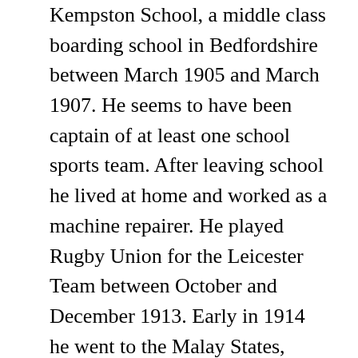Kempston School, a middle class boarding school in Bedfordshire between March 1905 and March 1907.  He seems to have been captain of at least one school sports team.  After leaving school he lived at home and worked as a machine repairer.  He played Rugby Union for the Leicester Team between October and December 1913.  Early in 1914 he went to the Malay States, presumably for work, arriving at Penang.  Oswald's father had given him a ring which he had found at Birstall Golf Course as a parting gift.  Whilst in Penang Oswald encountered another Englishman who spotted the ring on his finger and claimed it as his own – he had accidentally put the ring into Leonard's pocket in the changing room, thinking it was his own.